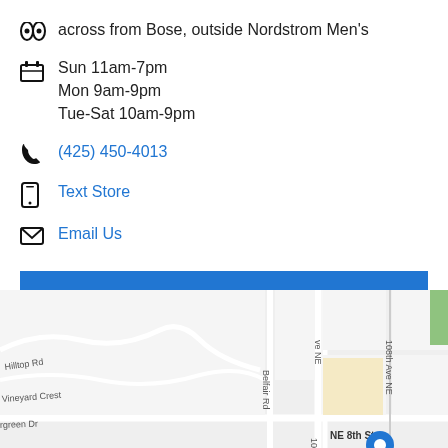across from Bose, outside Nordstrom Men's
Sun 11am-7pm
Mon 9am-9pm
Tue-Sat 10am-9pm
(425) 450-4013
Text Store
Email Us
GET DIRECTIONS
[Figure (map): Street map showing area near NE 8th St with Belfair Rd, 108th Ave NE, Hilltop Rd, Vineyard Crest, Evergreen Dr visible.]